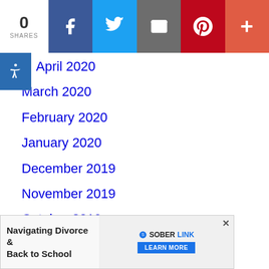[Figure (screenshot): Social sharing bar with 0 shares, Facebook, Twitter, Email, Pinterest, and plus buttons]
April 2020
March 2020
February 2020
January 2020
December 2019
November 2019
October 2019
September 2019
August 2019
July 2019
[Figure (screenshot): Advertisement banner: Navigating Divorce & Back to School with Soberlink Learn More button and close X]